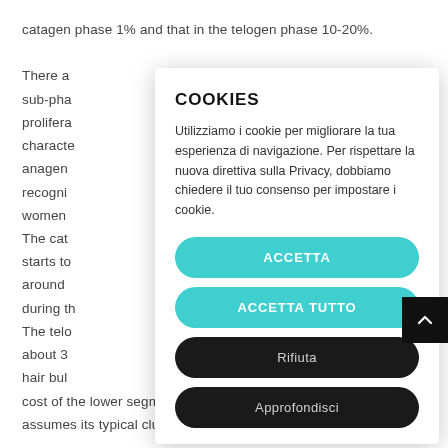catagen phase 1% and that in the telogen phase 10-20%.
There are first five sub-phases… rest of the proliferating… and is characterized… n of the anagen… It is recognized… while for women…
The catagen… follicle starts to… ration of around… hogram during th…
The telogen… nd about 3… rains the hair bulb… rs at the cost of the lower segment of the follicle. In this phase, the bulb assumes its typical clubbed aspect due to the retraction of all
COOKIES
Utilizziamo i cookie per migliorare la tua esperienza di navigazione. Per rispettare la nuova direttiva sulla Privacy, dobbiamo chiedere il tuo consenso per impostare i cookie.
ACCETTA
ACCETTA TUTTO
Rifiuta
Approfondisci